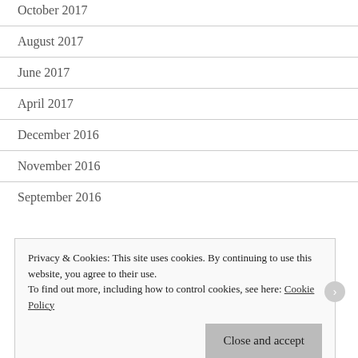October 2017
August 2017
June 2017
April 2017
December 2016
November 2016
September 2016
Privacy & Cookies: This site uses cookies. By continuing to use this website, you agree to their use.
To find out more, including how to control cookies, see here: Cookie Policy
Close and accept